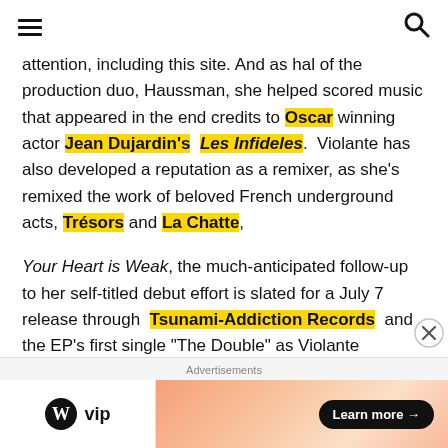[hamburger menu] [search icon]
attention, including this site. And as hal of the production duo, Haussman, she helped scored music that appeared in the end credits to Oscar winning actor Jean Dujardin's Les Infideles. Violante has also developed a reputation as a remixer, as she's remixed the work of beloved French underground acts, Trésors and La Chatte,
Your Heart is Weak, the much-anticipated follow-up to her self-titled debut effort is slated for a July 7 release through Tsunami-Addiction Records and the EP's first single "The Double" as Violante explains in press notes is
Advertisements
[Figure (logo): WordPress VIP logo and advertisement banner with Learn more button]